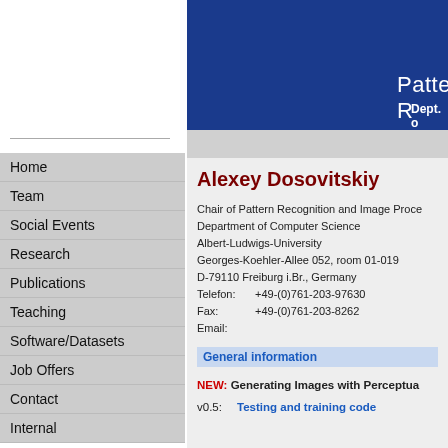Pattern R... Dept. of...
Home
Team
Social Events
Research
Publications
Teaching
Software/Datasets
Job Offers
Contact
Internal
Alexey Dosovitskiy
Chair of Pattern Recognition and Image Processing
Department of Computer Science
Albert-Ludwigs-University
Georges-Koehler-Allee 052, room 01-019
D-79110 Freiburg i.Br., Germany
Telefon:    +49-(0)761-203-97630
Fax:    +49-(0)761-203-8262
Email:
General information
NEW: Generating Images with Perceptua...
v0.5:   Testing and training code